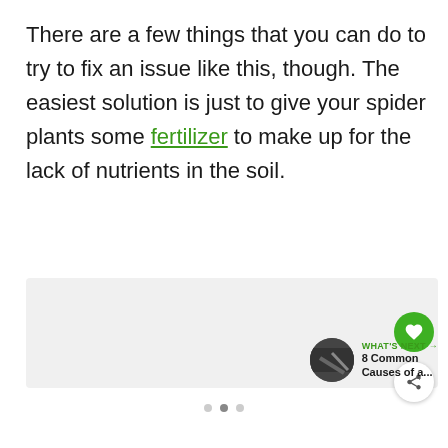There are a few things that you can do to try to fix an issue like this, though. The easiest solution is just to give your spider plants some fertilizer to make up for the lack of nutrients in the soil.
[Figure (screenshot): Gray placeholder content area box in a web article layout]
[Figure (infographic): Heart (favorite) button - green circle with heart icon, and share button - white circle with share icon]
WHAT'S NEXT → 8 Common Causes of a...